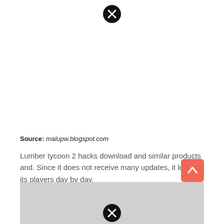[Figure (other): Close button (black circle with white X) at top center]
Source: malupw.blogspot.com
Lumber tycoon 2 hacks download and similar products and. Since it does not receive many updates, it loses its players day by day.
[Figure (other): Orange/red scroll-to-top button with upward arrow]
[Figure (other): Gray image placeholder with close button (black circle with white X) at bottom]